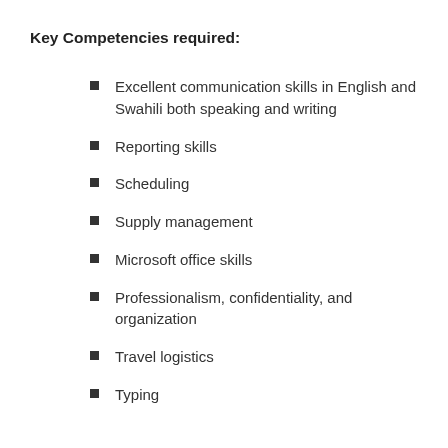Key Competencies required:
Excellent communication skills in English and Swahili both speaking and writing
Reporting skills
Scheduling
Supply management
Microsoft office skills
Professionalism, confidentiality, and organization
Travel logistics
Typing